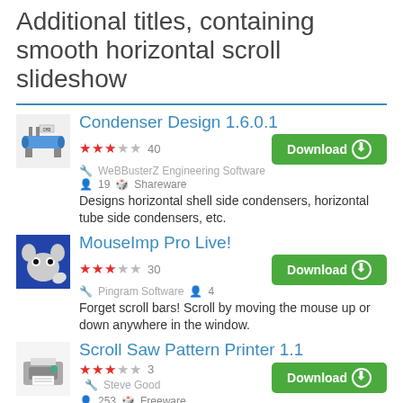Additional titles, containing smooth horizontal scroll slideshow
[Figure (logo): Condenser Design app icon - blue cylinder on gray background]
Condenser Design 1.6.0.1
★★★☆☆ 40 | WeBBusterZ Engineering Software | 19 users | Shareware | Download
Designs horizontal shell side condensers, horizontal tube side condensers, etc.
[Figure (logo): MouseImp Pro Live! app icon - cartoon mouse on blue background]
MouseImp Pro Live!
★★★☆☆ 30 | Pingram Software | 4 users | Download
Forget scroll bars! Scroll by moving the mouse up or down anywhere in the window.
[Figure (logo): Scroll Saw Pattern Printer app icon - printer device]
Scroll Saw Pattern Printer 1.1
★★★☆☆ 3 | Steve Good | 253 users | Freeware | Download
Scroll Saw Pattern Printer allows to prepare